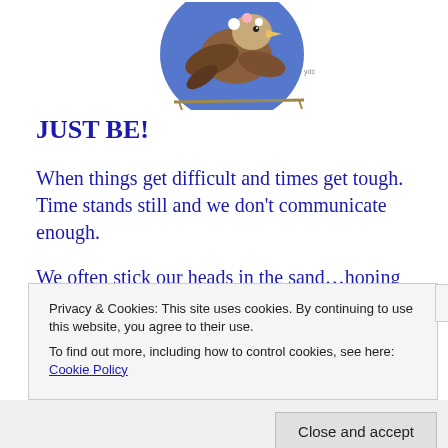[Figure (illustration): Decorative illustration of a bird (eagle or similar) with flowers on a blue circular background, partially cropped at top]
JUST BE!
When things get difficult and times get tough. Time stands still and we don't communicate enough.
We often stick our heads in the sand…hoping that others will understand.
All the while, we stress and ponder…what can pull us up
Privacy & Cookies: This site uses cookies. By continuing to use this website, you agree to their use.
To find out more, including how to control cookies, see here: Cookie Policy
Follow ...